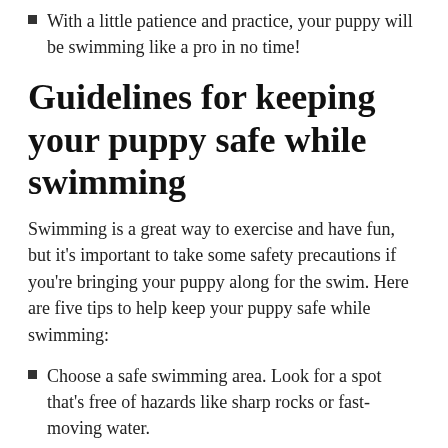With a little patience and practice, your puppy will be swimming like a pro in no time!
Guidelines for keeping your puppy safe while swimming
Swimming is a great way to exercise and have fun, but it's important to take some safety precautions if you're bringing your puppy along for the swim. Here are five tips to help keep your puppy safe while swimming:
Choose a safe swimming area. Look for a spot that's free of hazards like sharp rocks or fast-moving water.
Get your puppy used to the water gradually. Start by letting them splash around in shallow water, and